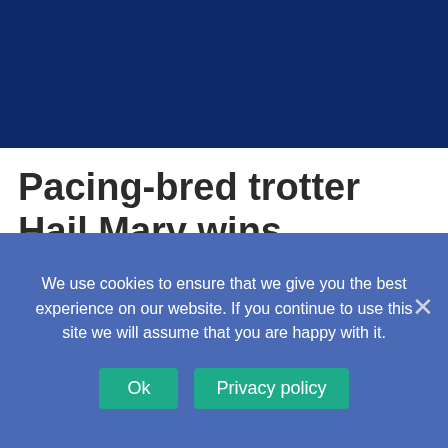[Figure (photo): Dark navy blue banner image at the top of the page]
Pacing-bred trotter Hail Mary wins $910,000 Derby in Sweden
September 9, 2020
[Figure (photo): Gray bar placeholder for an image below the date]
We use cookies to ensure that we give you the best experience on our website. If you continue to use this site we will assume that you are happy with it.